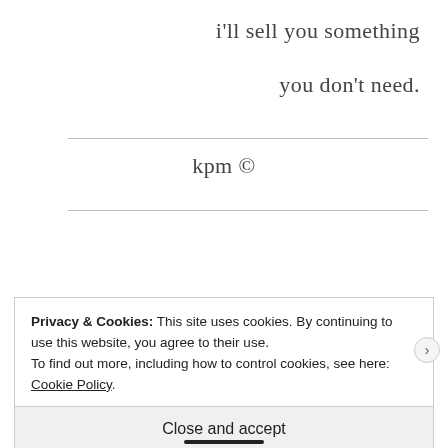i'll sell you something
you don't need.
kpm ©
Privacy & Cookies: This site uses cookies. By continuing to use this website, you agree to their use.
To find out more, including how to control cookies, see here: Cookie Policy
Close and accept